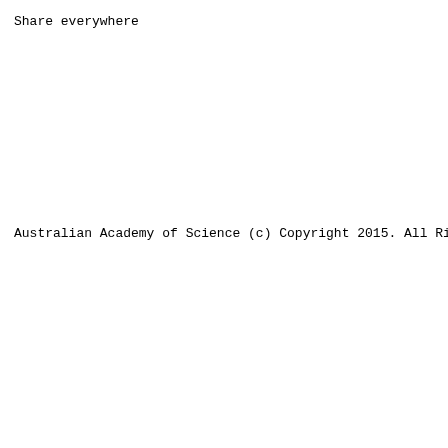Share everywhere
Australian Academy of Science (c) Copyright 2015. All Rig